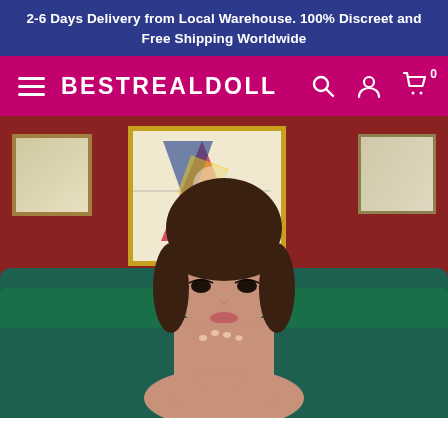2-6 Days Delivery from Local Warehouse. 100% Discreet and Free Shipping Worldwide
BESTREALDOLL
[Figure (photo): Product photo of a realistic doll with brown hair and bangs, posed with hand near face, set against a dark red wall with teal/green couch and framed artwork in the background.]